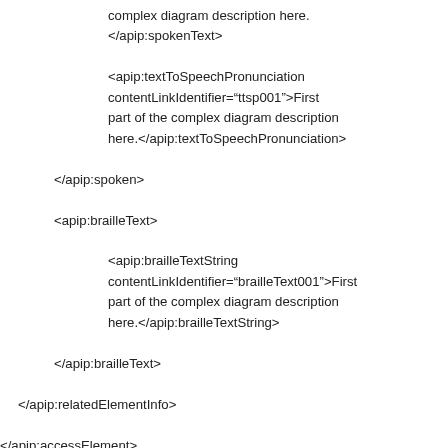complex diagram description here. </apip:spokenText> <apip:textToSpeechPronunciation contentLinkIdentifier="ttsp001">First part of the complex diagram description here.</apip:textToSpeechPronunciation> </apip:spoken> <apip:brailleText> <apip:brailleTextString contentLinkIdentifier="brailleText001">First part of the complex diagram description here.</apip:brailleTextString> </apip:brailleText> </apip:relatedElementInfo> </apip:accessElement> <apip:accessElement identifier="ae002">